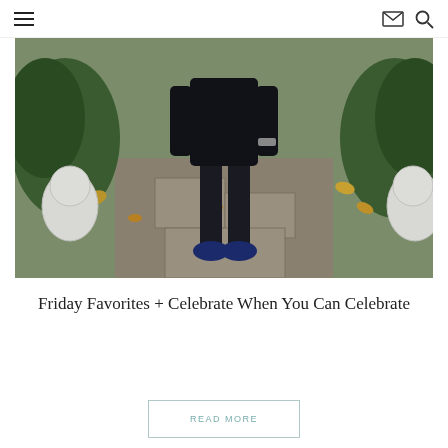Navigation menu, email icon, search icon
[Figure (photo): A person wearing all black athletic outfit (puffer jacket, leggings, blue sneakers) standing on a stone path between white garden statues and green bushes with fallen brown leaves]
Friday Favorites + Celebrate When You Can Celebrate
READ MORE